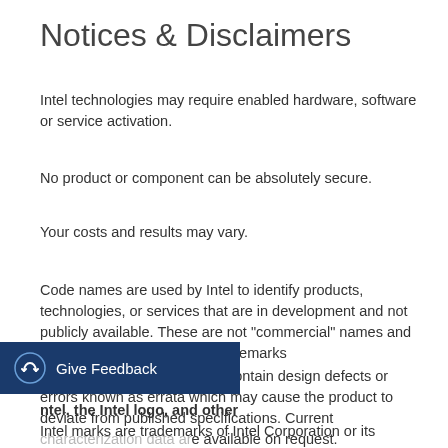Notices & Disclaimers
Intel technologies may require enabled hardware, software or service activation.
No product or component can be absolutely secure.
Your costs and results may vary.
Code names are used by Intel to identify products, technologies, or services that are in development and not publicly available. These are not "commercial" names and not intended to function as trademarks
The products described may contain design defects or errors known as errata which may cause the product to deviate from published specifications. Current characterization data are available on request.
[Figure (other): Give Feedback button overlay in dark navy blue with feedback icon and white text]
Intel, the Intel logo, and other Intel marks are trademarks of Intel Corporation or its